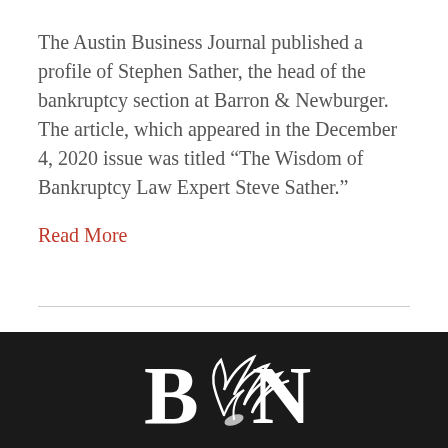The Austin Business Journal published a profile of Stephen Sather, the head of the bankruptcy section at Barron & Newburger.  The article, which appeared in the December 4, 2020 issue was titled “The Wisdom of Bankruptcy Law Expert Steve Sather.”
Read More
Older Posts »
[Figure (logo): B&N law firm logo in white on dark background — stylized letters B, a wing/feather emblem, and N]